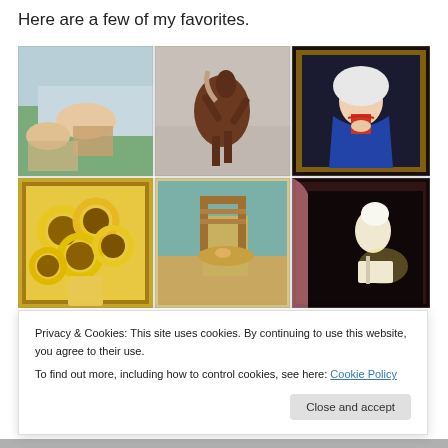Here are a few of my favorites.
[Figure (photo): Grid of 6 painting photos: top row: Seurat bathers scene, rearing brown horse, Virgin Mary portrait in ornate gold frame; bottom row: Van Gogh sunflowers, Van Gogh chair, woman reading by candlelight]
Privacy & Cookies: This site uses cookies. By continuing to use this website, you agree to their use.
To find out more, including how to control cookies, see here: Cookie Policy
Close and accept